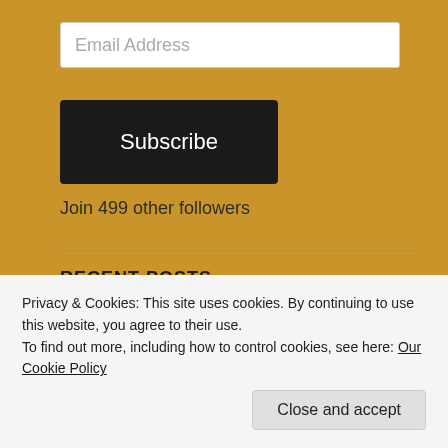Email Address
Subscribe
Join 499 other followers
RECENT POSTS
Disabled People and the Post-Covid Church: Exiled, Cast Out or Treated with Special Care?
Privacy & Cookies: This site uses cookies. By continuing to use this website, you agree to their use.
To find out more, including how to control cookies, see here: Our Cookie Policy
Close and accept